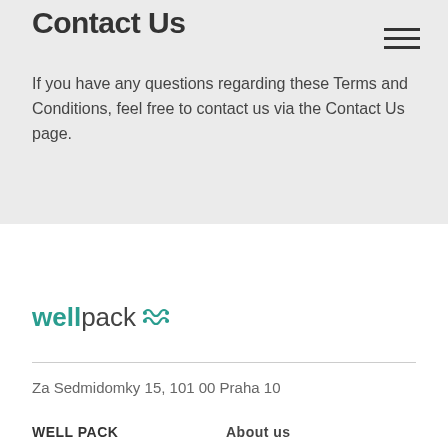Contact Us
If you have any questions regarding these Terms and Conditions, feel free to contact us via the Contact Us page.
[Figure (logo): wellpack logo with teal bold 'well' and gray 'pack' text followed by a teal decorative icon]
Za Sedmidomky 15, 101 00 Praha 10
WELL PACK
About us